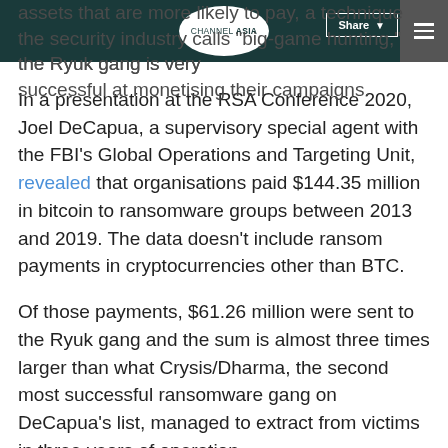CHANNEL ASIA | Share
assets that are more likely to pay, a technique the security industry calls "big-game hunting," the Ryuk gang is very successful at monetising their campaigns.
In a presentation at the RSA Conference 2020, Joel DeCapua, a supervisory special agent with the FBI's Global Operations and Targeting Unit, revealed that organisations paid $144.35 million in bitcoin to ransomware groups between 2013 and 2019. The data doesn't include ransom payments in cryptocurrencies other than BTC.
Of those payments, $61.26 million were sent to the Ryuk gang and the sum is almost three times larger than what Crysis/Dharma, the second most successful ransomware gang on DeCapua's list, managed to extract from victims in three years of operation.